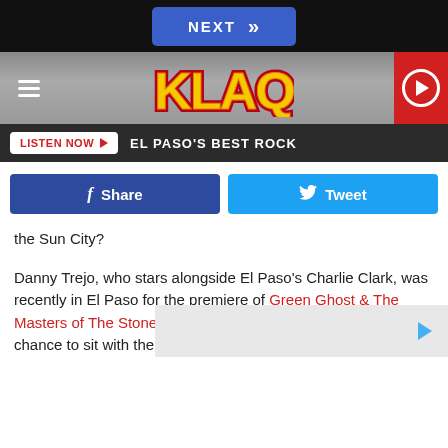NEXT
[Figure (logo): KLAQ radio station logo with hamburger menu and play button]
LISTEN NOW  EL PASO'S BEST ROCK
Share  Tweet
the Sun City?
Danny Trejo, who stars alongside El Paso's Charlie Clark, was recently in El Paso for the premiere of Green Ghost & The Masters of The Stone at Alamo Drafthouse East, where I had a chance to sit with the actor to talk about his love for food.